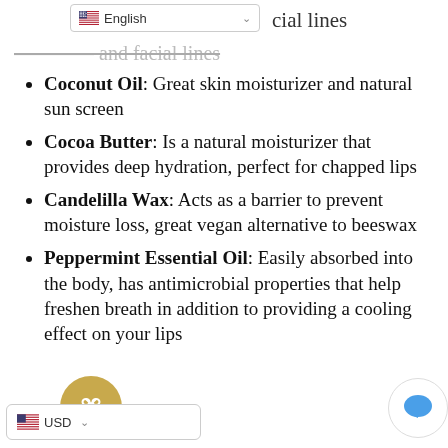English (language selector UI element)
...and facial lines
Coconut Oil: Great skin moisturizer and natural sun screen
Cocoa Butter: Is a natural moisturizer that provides deep hydration, perfect for chapped lips
Candelilla Wax: Acts as a barrier to prevent moisture loss, great vegan alternative to beeswax
Peppermint Essential Oil: Easily absorbed into the body, has antimicrobial properties that help freshen breath in addition to providing a cooling effect on your lips